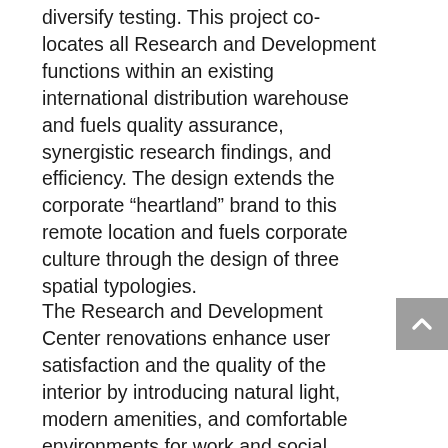diversify testing. This project co-locates all Research and Development functions within an existing international distribution warehouse and fuels quality assurance, synergistic research findings, and efficiency. The design extends the corporate “heartland” brand to this remote location and fuels corporate culture through the design of three spatial typologies.
The Research and Development Center renovations enhance user satisfaction and the quality of the interior by introducing natural light, modern amenities, and comfortable environments for work and social interaction. Large windows were punched into the exterior walls, allowing sunlight to reach the interior offices and distribution center. Collaboration